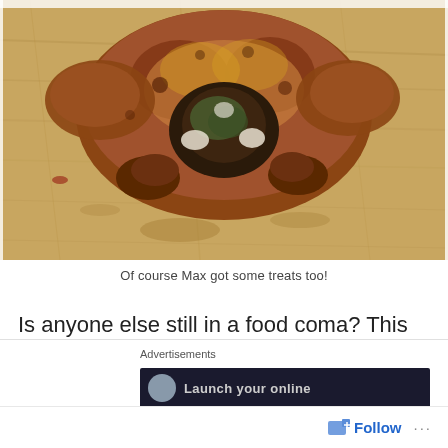[Figure (photo): A roasted whole chicken/turkey on a wooden cutting board, photographed from above. The bird is golden-brown and well-cooked, viewed from the cavity end showing the open interior.]
Of course Max got some treats too!
Is anyone else still in a food coma? This was my first Thanksgiving not flying home to NY to celebrate the
Advertisements
Launch your online
Follow